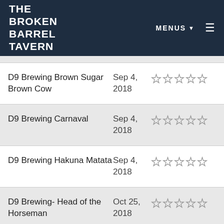THE BROKEN BARREL TAVERN | MENUS ▾ ☰
| Name | Date | Rating |
| --- | --- | --- |
| D9 Brewing Brown Sugar Brown Cow | Sep 4, 2018 | ☆☆☆☆☆ |
| D9 Brewing Carnaval | Sep 4, 2018 | ☆☆☆☆☆ |
| D9 Brewing Hakuna Matata | Sep 4, 2018 | ☆☆☆☆☆ |
| D9 Brewing- Head of the Horseman | Oct 25, 2018 | ☆☆☆☆☆ |